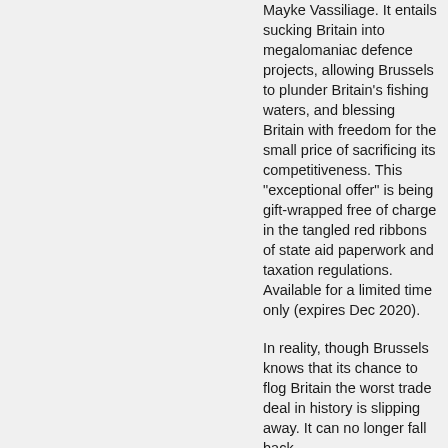Mayke Vassiliage. It entails sucking Britain into megalomaniac defence projects, allowing Brussels to plunder Britain’s fishing waters, and blessing Britain with freedom for the small price of sacrificing its competitiveness. This “exceptional offer” is being gift-wrapped free of charge in the tangled red ribbons of state aid paperwork and taxation regulations. Available for a limited time only (expires Dec 2020).
In reality, though Brussels knows that its chance to flog Britain the worst trade deal in history is slipping away. It can no longer fall back